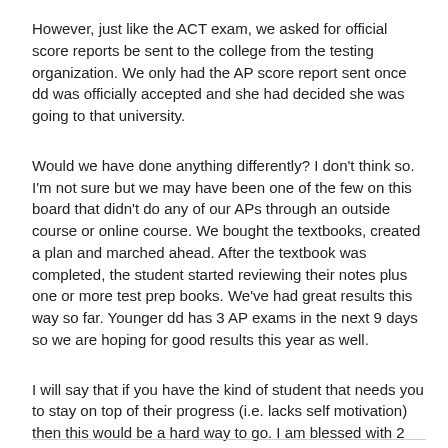However, just like the ACT exam, we asked for official score reports be sent to the college from the testing organization. We only had the AP score report sent once dd was officially accepted and she had decided she was going to that university.
Would we have done anything differently? I don't think so. I'm not sure but we may have been one of the few on this board that didn't do any of our APs through an outside course or online course. We bought the textbooks, created a plan and marched ahead. After the textbook was completed, the student started reviewing their notes plus one or more test prep books. We've had great results this way so far. Younger dd has 3 AP exams in the next 9 days so we are hoping for good results this year as well.
I will say that if you have the kind of student that needs you to stay on top of their progress (i.e. lacks self motivation) then this would be a hard way to go. I am blessed with 2 daughters that need no such pushing.